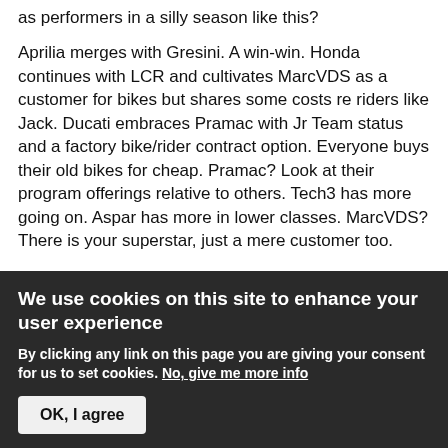as performers in a silly season like this?
Aprilia merges with Gresini. A win-win. Honda continues with LCR and cultivates MarcVDS as a customer for bikes but shares some costs re riders like Jack. Ducati embraces Pramac with Jr Team status and a factory bike/rider contract option. Everyone buys their old bikes for cheap. Pramac? Look at their program offerings relative to others. Tech3 has more going on. Aspar has more in lower classes. MarcVDS? There is your superstar, just a mere customer too.
Can anyone see a MarcVDS and Suzuki marraige now? I can't. Unless the SKY46 factor is big. AND Suzuki has
We use cookies on this site to enhance your user experience
By clicking any link on this page you are giving your consent for us to set cookies. No, give me more info
OK, I agree